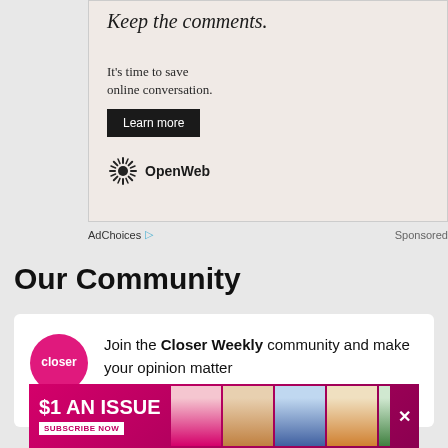[Figure (screenshot): Advertisement box with italic text 'Keep the comments.' and subtext 'It's time to save online conversation.' with a Learn more button and OpenWeb logo]
AdChoices ▷  Sponsored
Our Community
Join the Closer Weekly community and make your opinion matter
Comment >
[Figure (screenshot): Bottom banner ad: $1 AN ISSUE SUBSCRIBE NOW with magazine cover thumbnails]